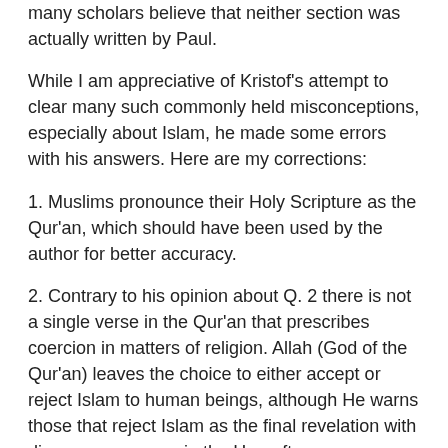many scholars believe that neither section was actually written by Paul.
While I am appreciative of Kristof's attempt to clear many such commonly held misconceptions, especially about Islam, he made some errors with his answers. Here are my corrections:
1. Muslims pronounce their Holy Scripture as the Qur'an, which should have been used by the author for better accuracy.
2. Contrary to his opinion about Q. 2 there is not a single verse in the Qur'an that prescribes coercion in matters of religion. Allah (God of the Qur'an) leaves the choice to either accept or reject Islam to human beings, although He warns those that reject Islam as the final revelation with dire consequences in the Hereafter.
3. Kristof's remarks on Q. 5 vis-a-vis Islam are not accurate. While the Qur'an, like both the so-called Old and New Testament, does not explicitly abolish slavery, it is unique in